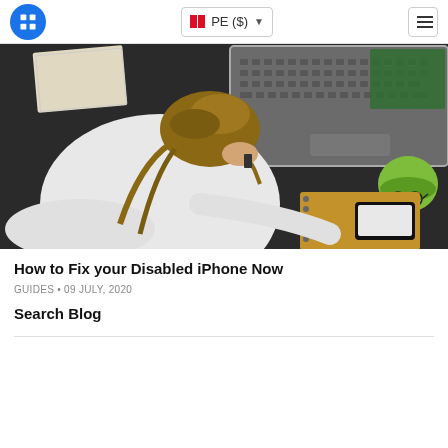PE ($) [navigation header with logo and hamburger menu]
[Figure (photo): Woman with head down on desk, stressed, with laptop, notebook, phone, and glasses on a dark desk surface]
How to Fix your Disabled iPhone Now
GUIDES • 09 JULY, 2020
Search Blog